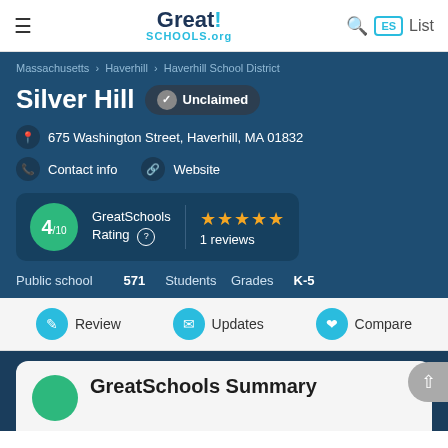GreatSchools.org
Massachusetts > Haverhill > Haverhill School District
Silver Hill
Unclaimed
675 Washington Street, Haverhill, MA 01832
Contact info
Website
GreatSchools Rating 4/10
★★★★★ 1 reviews
Public school  571 Students  Grades K-5
Review  Updates  Compare
GreatSchools Summary